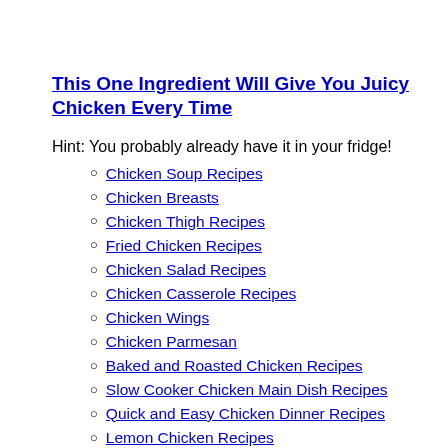This One Ingredient Will Give You Juicy Chicken Every Time
Hint: You probably already have it in your fridge!
Chicken Soup Recipes
Chicken Breasts
Chicken Thigh Recipes
Fried Chicken Recipes
Chicken Salad Recipes
Chicken Casserole Recipes
Chicken Wings
Chicken Parmesan
Baked and Roasted Chicken Recipes
Slow Cooker Chicken Main Dish Recipes
Quick and Easy Chicken Dinner Recipes
Lemon Chicken Recipes
Beef Recipes ∨